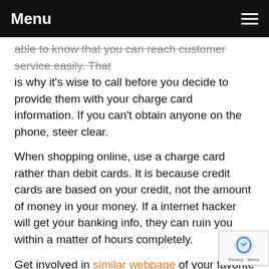Menu
able to know that you can reach customer service easily. That is why it's wise to call before you decide to provide them with your charge card information. If you can't obtain anyone on the phone, steer clear.
When shopping online, use a charge card rather than debit cards. It is because credit cards are based on your credit, not the amount of money in your money. If a internet hacker will get your banking info, they can ruin you within a matter of hours completely.
Get involved in similar webpage of your favorite online stores. click through the next post with large on-line presences put a lot of money behind their social media generally, and which includes offering their followers some mega-discounts and...